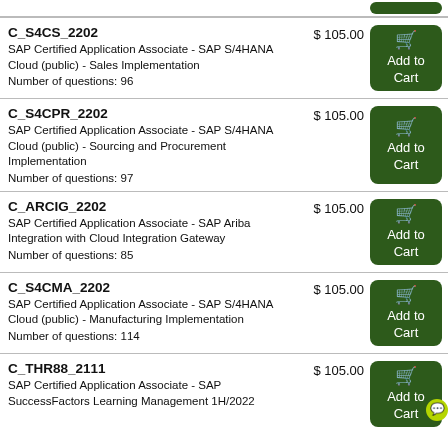C_S4CS_2202 | SAP Certified Application Associate - SAP S/4HANA Cloud (public) - Sales Implementation | Number of questions: 96 | $ 105.00
C_S4CPR_2202 | SAP Certified Application Associate - SAP S/4HANA Cloud (public) - Sourcing and Procurement Implementation | Number of questions: 97 | $ 105.00
C_ARCIG_2202 | SAP Certified Application Associate - SAP Ariba Integration with Cloud Integration Gateway | Number of questions: 85 | $ 105.00
C_S4CMA_2202 | SAP Certified Application Associate - SAP S/4HANA Cloud (public) - Manufacturing Implementation | Number of questions: 114 | $ 105.00
C_THR88_2111 | SAP Certified Application Associate - SAP SuccessFactors Learning Management 1H/2022 | $ 105.00